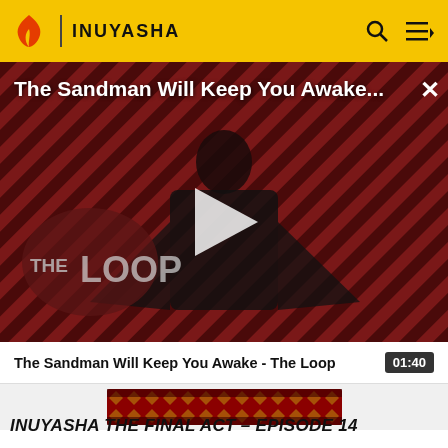INUYASHA
[Figure (screenshot): Video player showing 'The Sandman Will Keep You Awake...' with a man in black coat, diagonal striped red/dark background, THE LOOP logo visible, play button overlay, and close X button]
The Sandman Will Keep You Awake - The Loop  01:40
[Figure (photo): Thumbnail strip showing red and gold patterned design for Inuyasha The Final Act]
INUYASHA THE FINAL ACT - EPISODE 14